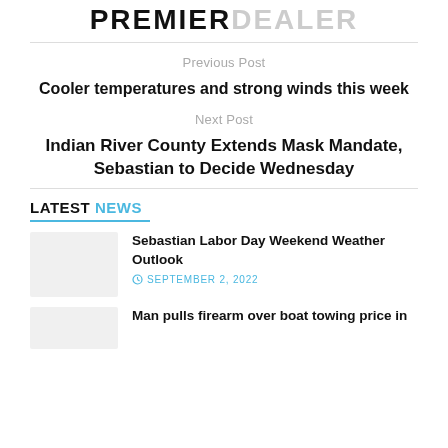PREMIERDEALER
Previous Post
Cooler temperatures and strong winds this week
Next Post
Indian River County Extends Mask Mandate, Sebastian to Decide Wednesday
LATEST NEWS
Sebastian Labor Day Weekend Weather Outlook — SEPTEMBER 2, 2022
Man pulls firearm over boat towing price in